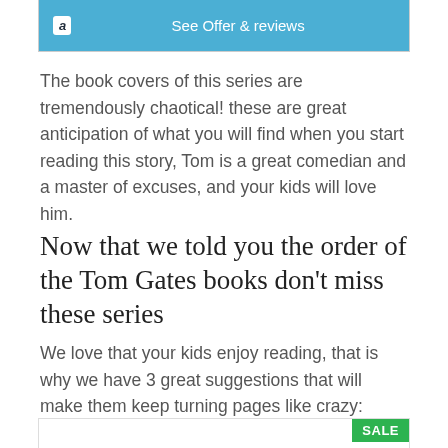[Figure (screenshot): Amazon 'See Offer & reviews' button bar at top of page]
The book covers of this series are tremendously chaotical! these are great anticipation of what you will find when you start reading this story, Tom is a great comedian and a master of excuses, and your kids will love him.
Now that we told you the order of the Tom Gates books don't miss these series
We love that your kids enjoy reading, that is why we have 3 great suggestions that will make them keep turning pages like crazy:
[Figure (screenshot): Bottom of page showing a book with red cover and 'SALE' badge in green]